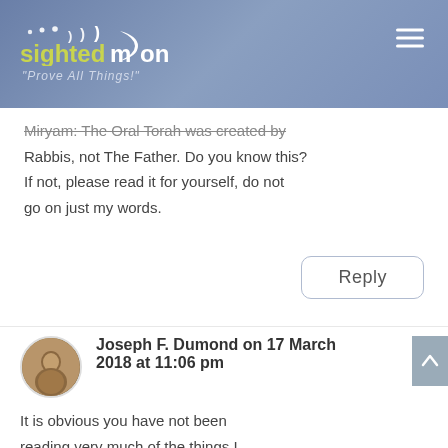sightedmoon — Prove All Things!
Miryam: The Oral Torah was created by Rabbis, not The Father. Do you know this? If not, please read it for yourself, do not go on just my words.
Reply
Joseph F. Dumond on 17 March 2018 at 11:06 pm
It is obvious you have not been reading very much of the things I teach. The Oral Torah records how they sighted moon and required two witnesses before they switched to the